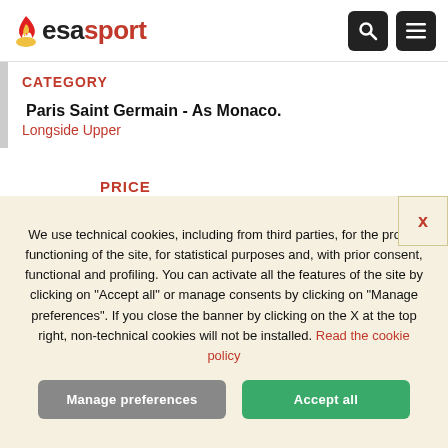esasport
CATEGORY
Paris Saint Germain - As Monaco.
Longside Upper
PRICE
€ 335,00
PER PERSON
REQUEST INFO
We use technical cookies, including from third parties, for the proper functioning of the site, for statistical purposes and, with prior consent, functional and profiling. You can activate all the features of the site by clicking on "Accept all" or manage consents by clicking on "Manage preferences". If you close the banner by clicking on the X at the top right, non-technical cookies will not be installed. Read the cookie policy
Manage preferences
Accept all